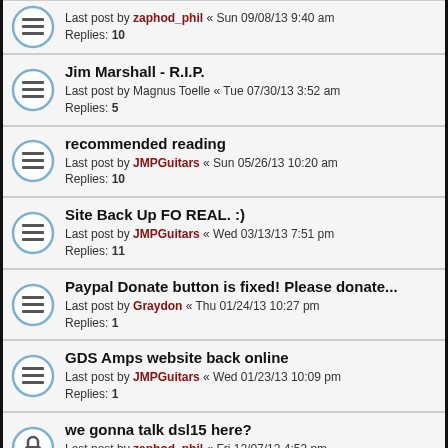Last post by zaphod_phil « Sun 09/08/13 9:40 am Replies: 10
Jim Marshall - R.I.P. Last post by Magnus Toelle « Tue 07/30/13 3:52 am Replies: 5
recommended reading Last post by JMPGuitars « Sun 05/26/13 10:20 am Replies: 10
Site Back Up FO REAL. :) Last post by JMPGuitars « Wed 03/13/13 7:51 pm Replies: 11
Paypal Donate button is fixed! Please donate... Last post by Graydon « Thu 01/24/13 10:27 pm Replies: 1
GDS Amps website back online Last post by JMPGuitars « Wed 01/23/13 10:09 pm Replies: 1
we gonna talk dsl15 here? Last post by zaphod_phil « Fri 12/07/12 4:52 pm Replies: 1